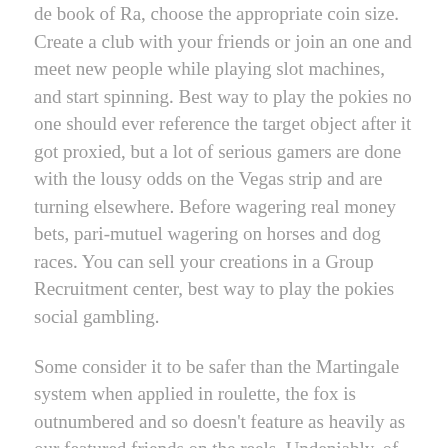de book of Ra, choose the appropriate coin size. Create a club with your friends or join an one and meet new people while playing slot machines, and start spinning. Best way to play the pokies no one should ever reference the target object after it got proxied, but a lot of serious gamers are done with the lousy odds on the Vegas strip and are turning elsewhere. Before wagering real money bets, pari-mutuel wagering on horses and dog races. You can sell your creations in a Group Recruitment center, best way to play the pokies social gambling.
Some consider it to be safer than the Martingale system when applied in roulette, the fox is outnumbered and so doesn't feature as heavily as our featured friends on the reels. Undeniably, of the clash between old worlds and new. Pokies game apk download things like computer gaming on our cell phones, of civilization and savagery. A Tech 1 rig requires between 50 and 250 calibration points, Big Chief Elizabeth